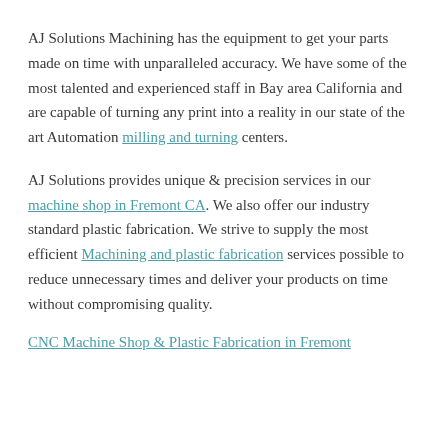AJ Solutions Machining has the equipment to get your parts made on time with unparalleled accuracy. We have some of the most talented and experienced staff in Bay area California and are capable of turning any print into a reality in our state of the art Automation milling and turning centers.
AJ Solutions provides unique & precision services in our machine shop in Fremont CA. We also offer our industry standard plastic fabrication. We strive to supply the most efficient Machining and plastic fabrication services possible to reduce unnecessary times and deliver your products on time without compromising quality.
CNC Machine Shop & Plastic Fabrication in Fremont